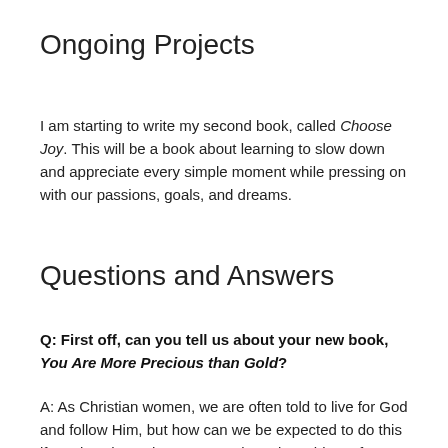Ongoing Projects
I am starting to write my second book, called Choose Joy. This will be a book about learning to slow down and appreciate every simple moment while pressing on with our passions, goals, and dreams.
Questions and Answers
Q: First off, can you tell us about your new book, You Are More Precious than Gold?
A: As Christian women, we are often told to live for God and follow Him, but how can we be expected to do this if we don't have the proper tools and teaching? If young women don't know how to properly live for God, they'll start to follow the world's definition of beauty, which is a long road to destruction